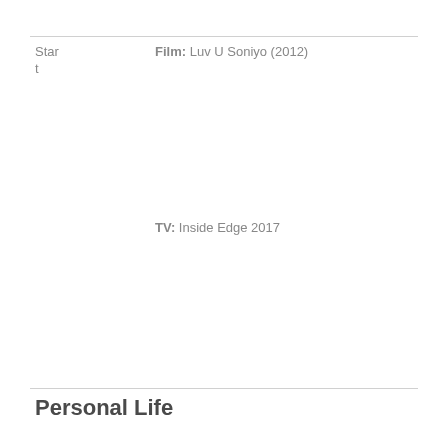Start
Film: Luv U Soniyo (2012)
TV: Inside Edge 2017
Personal Life